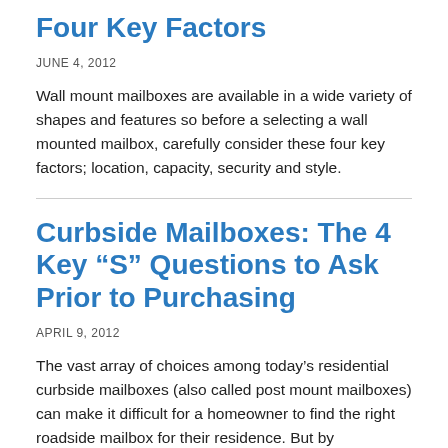Four Key Factors
JUNE 4, 2012
Wall mount mailboxes are available in a wide variety of shapes and features so before a selecting a wall mounted mailbox, carefully consider these four key factors; location, capacity, security and style.
Curbside Mailboxes: The 4 Key “S” Questions to Ask Prior to Purchasing
APRIL 9, 2012
The vast array of choices among today’s residential curbside mailboxes (also called post mount mailboxes) can make it difficult for a homeowner to find the right roadside mailbox for their residence. But by considering 4 key “S” questions (mailbox size, security, strength and style), a homeowner can quickly